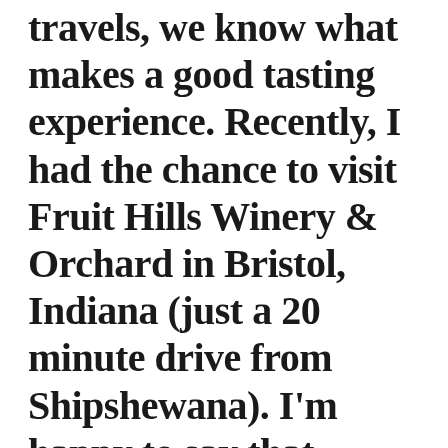travels, we know what makes a good tasting experience. Recently, I had the chance to visit Fruit Hills Winery & Orchard in Bristol, Indiana (just a 20 minute drive from Shipshewana). I'm happy to say that